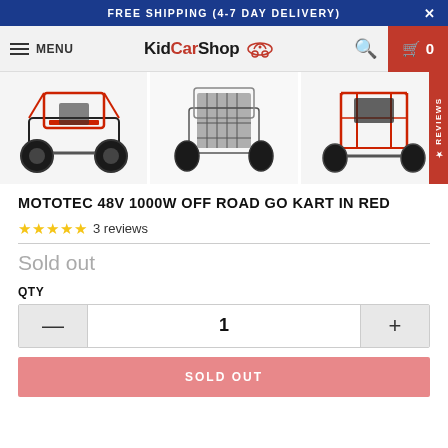FREE SHIPPING (4-7 DAY DELIVERY)
[Figure (screenshot): Website navigation bar with hamburger menu, MENU text, KidCarShop logo with car icon, search icon, and red cart icon showing 0 items]
[Figure (photo): Product images row showing three views of MotoTec 48V 1000W Off Road Go Kart in Red - front angle view, front view, and rear view]
MOTOTEC 48V 1000W OFF ROAD GO KART IN RED
★★★★★ 3 reviews
Sold out
QTY
1
SOLD OUT